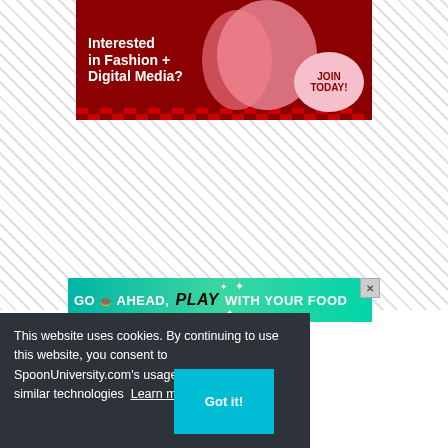[Figure (illustration): Advertisement banner with dark red background showing two young women in pink outfits with text 'Interested in Fashion + Digital Media?' and a pink bubble with 'JOIN TODAY!']
[Figure (illustration): Advertisement banner with teal/green gradient background with white sparkles and text 'GO AHEAD, play WITH YOUR FOOD' with a close button (X) in top right]
This website uses cookies. By continuing to use this website, you consent to SpoonUniversity.com's usage of cookies and similar technologies Learn more